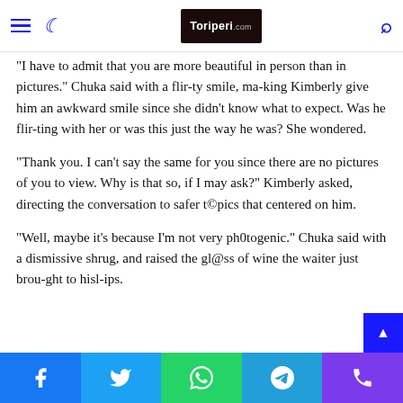Toriperi.com navigation header
"I have to admit that you are more beautiful in person than in pictures." Chuka said with a flir-ty smile, ma-king Kimberly give him an awkward smile since she didn't know what to expect. Was he flir-ting with her or was this just the way he was? She wondered.
"Thank you. I can't say the same for you since there are no pictures of you to view. Why is that so, if I may ask?" Kimberly asked, directing the conversation to safer t©pics that centered on him.
"Well, maybe it's because I'm not very ph0togenic." Chuka said with a dismissive shrug, and raised the gl@ss of wine the waiter just brou-ght to hisl-ips.
Facebook Twitter WhatsApp Telegram Phone share buttons